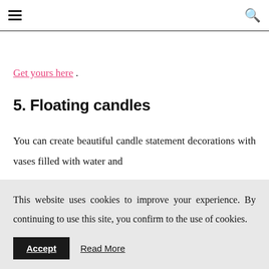☰ [menu icon] | 🔍 [search icon]
Get yours here .
5. Floating candles
You can create beautiful candle statement decorations with vases filled with water and
This website uses cookies to improve your experience. By continuing to use this site, you confirm to the use of cookies. Accept  Read More